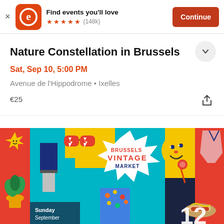[Figure (screenshot): Eventbrite app banner with logo, 'Find events you'll love', 5 star rating (148k reviews), and orange Continue button]
Nature Constellation in Brussels
Sat, Sep 10, 5:00 PM
Avenue de l'Hippodrome • Ixelles
€25
[Figure (illustration): Brussels Vintage Market colorful illustrated event poster with Sunday September 12th date]